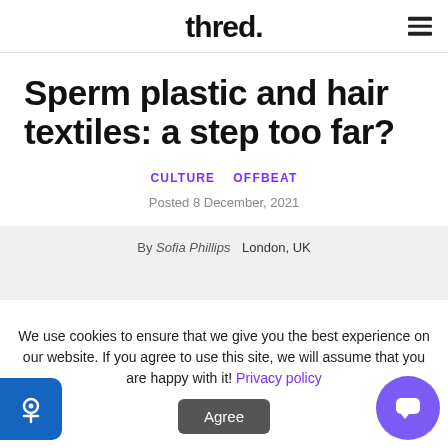thred.
Sperm plastic and hair textiles: a step too far?
CULTURE  OFFBEAT
Posted 8 December, 2021
By Sofia Phillips  London, UK
We use cookies to ensure that we give you the best experience on our website. If you agree to use this site, we will assume that you are happy with it! Privacy policy
Agree